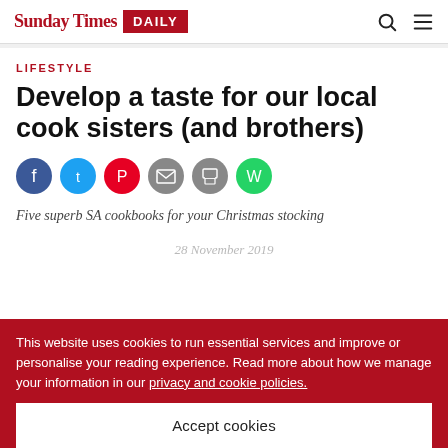Sunday Times DAILY
LIFESTYLE
Develop a taste for our local cook sisters (and brothers)
[Figure (infographic): Row of six social sharing icons: Facebook (blue), Twitter (light blue), Pinterest (red), Email (grey), Print (grey), WhatsApp (green)]
Five superb SA cookbooks for your Christmas stocking
28 November 2019
This website uses cookies to run essential services and improve or personalise your reading experience. Read more about how we manage your information in our privacy and cookie policies.
Accept cookies